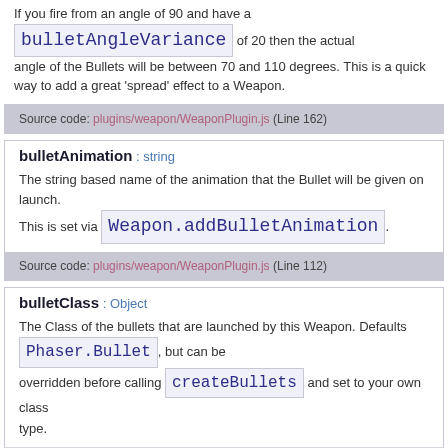If you fire from an angle of 90 and have a bulletAngleVariance of 20 then the actual angle of the Bullets will be between 70 and 110 degrees. This is a quick way to add a great 'spread' effect to a Weapon.
Source code: plugins/weapon/WeaponPlugin.js (Line 162)
bulletAnimation : string
The string based name of the animation that the Bullet will be given on launch. This is set via Weapon.addBulletAnimation .
Source code: plugins/weapon/WeaponPlugin.js (Line 112)
bulletClass : Object
The Class of the bullets that are launched by this Weapon. Defaults Phaser.Bullet , but can be overridden before calling createBullets and set to your own class type.